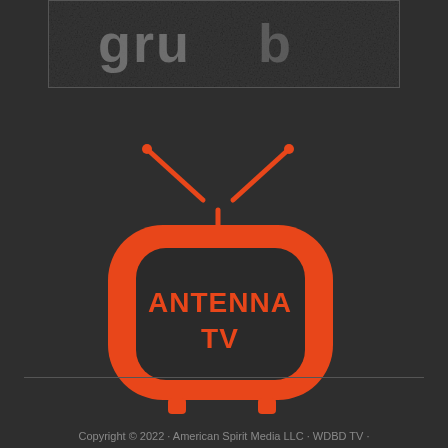[Figure (screenshot): Partial image at top showing dark grungy text/graphic, appearing to be a show or movie title card with worn texture]
[Figure (logo): Antenna TV logo: an orange retro television set with rabbit-ear antennas, screen showing 'ANTENNA TV' text in orange on dark background]
Copyright © 2022 · American Spirit Media LLC · WDBD TV ·